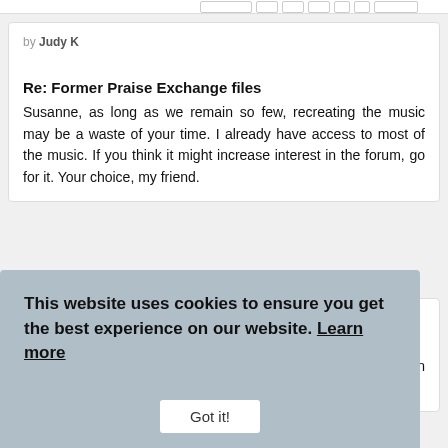by Judy K
Re: Former Praise Exchange files
Susanne, as long as we remain so few, recreating the music may be a waste of your time. I already have access to most of the music. If you think it might increase interest in the forum, go for it. Your choice, my friend.
This website uses cookies to ensure you get the best experience on our website. Learn more
Got it!
Re: Former Praise Exchange files
Oh, the files I downloaded all play. Some of the links that are in The Praise Exchange, aka TPE, are only links